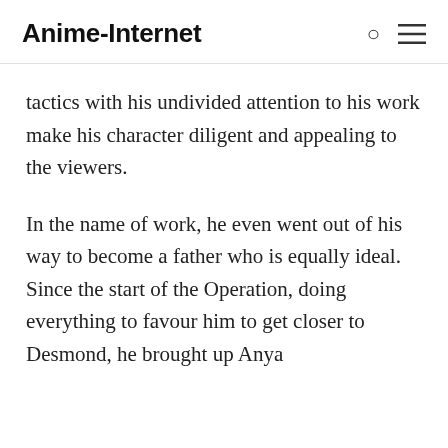Anime-Internet
tactics with his undivided attention to his work make his character diligent and appealing to the viewers.
In the name of work, he even went out of his way to become a father who is equally ideal. Since the start of the Operation, doing everything to favour him to get closer to Desmond, he brought up Anya